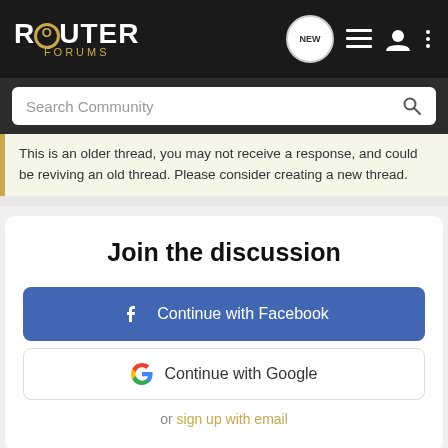ROUTER FORUMS
Search Community
This is an older thread, you may not receive a response, and could be reviving an old thread. Please consider creating a new thread.
Join the discussion
Continue with Facebook
Continue with Google
or sign up with email
Recommended Reading